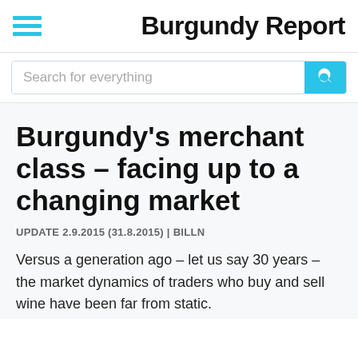Burgundy Report
Burgundy's merchant class – facing up to a changing market
UPDATE 2.9.2015 (31.8.2015) | BILLN
Versus a generation ago – let us say 30 years – the market dynamics of traders who buy and sell wine have been far from static.
The traditional Beaune-based merchants, or the … n the focus of commentators but they